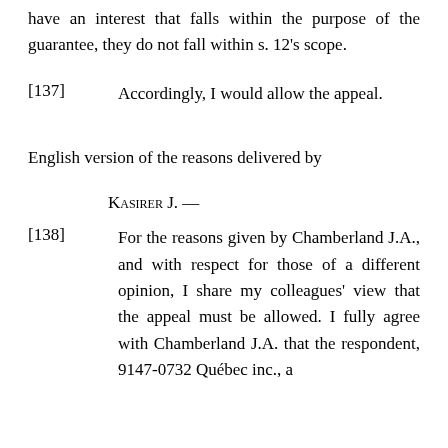have an interest that falls within the purpose of the guarantee, they do not fall within s. 12's scope.
[137]        Accordingly, I would allow the appeal.
English version of the reasons delivered by
Kasirer J. —
[138]        For the reasons given by Chamberland J.A., and with respect for those of a different opinion, I share my colleagues' view that the appeal must be allowed. I fully agree with Chamberland J.A. that the respondent, 9147-0732 Québec inc., a